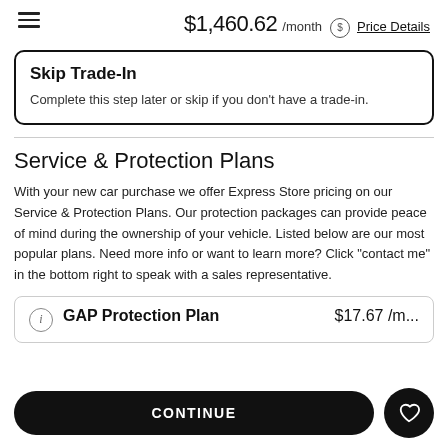$1,460.62 /month Price Details
Skip Trade-In
Complete this step later or skip if you don't have a trade-in.
Service & Protection Plans
With your new car purchase we offer Express Store pricing on our Service & Protection Plans. Our protection packages can provide peace of mind during the ownership of your vehicle. Listed below are our most popular plans. Need more info or want to learn more? Click "contact me" in the bottom right to speak with a sales representative.
GAP Protection Plan $17.67 /m...